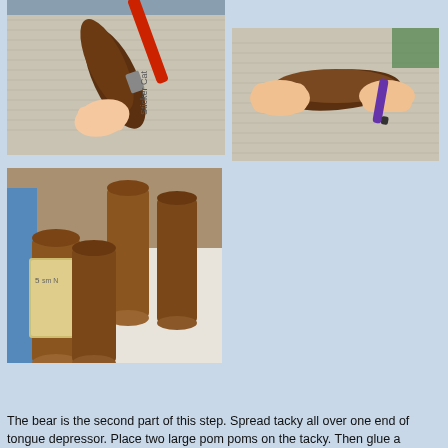[Figure (photo): Child's hand painting a brown cylindrical toilet paper roll on newspaper with a red-handled brush]
[Figure (photo): Hands using a purple marker or pen on a brown-painted toilet paper roll on newspaper]
[Figure (photo): Several brown-painted toilet paper rolls on a table, with tan/beige paper wrapped around them as bear belly pieces]
The bear is the second part of this step. Spread tacky all over one end of tongue depressor. Place two large pom poms on the tacky. Then glue a